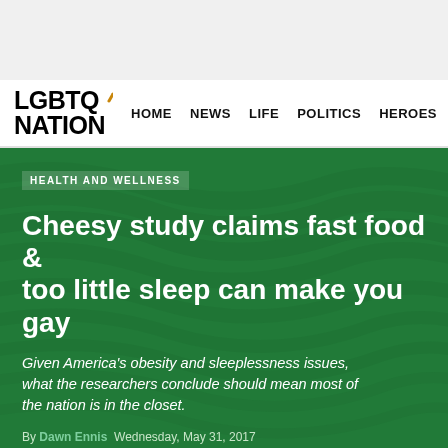LGBTQ NATION | HOME  NEWS  LIFE  POLITICS  HEROES  A
HEALTH AND WELLNESS
Cheesy study claims fast food & too little sleep can make you gay
Given America's obesity and sleeplessness issues, what the researchers conclude should mean most of the nation is in the closet.
By Dawn Ennis  Wednesday, May 31, 2017